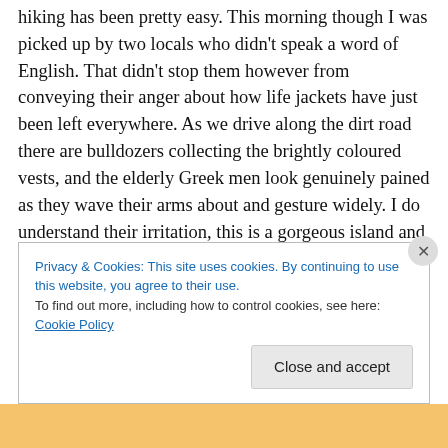hiking has been pretty easy. This morning though I was picked up by two locals who didn't speak a word of English. That didn't stop them however from conveying their anger about how life jackets have just been left everywhere. As we drive along the dirt road there are bulldozers collecting the brightly coloured vests, and the elderly Greek men look genuinely pained as they wave their arms about and gesture widely. I do understand their irritation, this is a gorgeous island and it has been turned into a dump, but at the same time I didn't think about where I tossed vests as I peeled them off screaming wet
Privacy & Cookies: This site uses cookies. By continuing to use this website, you agree to their use.
To find out more, including how to control cookies, see here: Cookie Policy
Close and accept